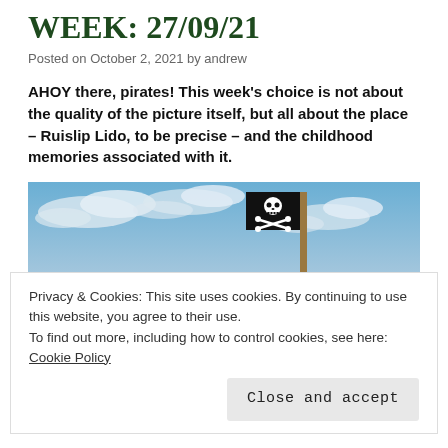WEEK: 27/09/21
Posted on October 2, 2021 by andrew
AHOY there, pirates! This week's choice is not about the quality of the picture itself, but all about the place – Ruislip Lido, to be precise – and the childhood memories associated with it.
[Figure (photo): Photo of a pirate flag (Jolly Roger) on a wooden pole against a blue cloudy sky, with a directional arrow sign. Sandy/wooden structure visible at bottom.]
Privacy & Cookies: This site uses cookies. By continuing to use this website, you agree to their use.
To find out more, including how to control cookies, see here: Cookie Policy
Close and accept